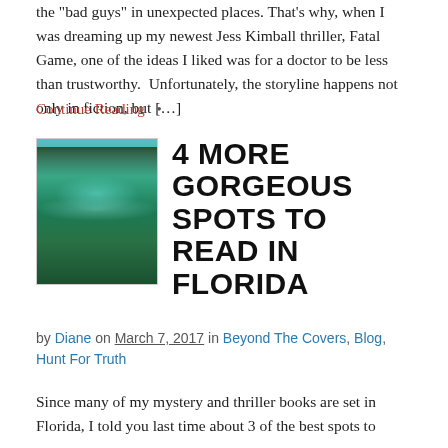the "bad guys" in unexpected places. That's why, when I was dreaming up my newest Jess Kimball thriller, Fatal Game, one of the ideas I liked was for a doctor to be less than trustworthy.  Unfortunately, the storyline happens not only in fiction, but […]
Continue Reading •
[Figure (photo): Aerial or ground-level photo of a clear turquoise/teal Florida spring with lush green trees and vegetation surrounding the water]
4 MORE GORGEOUS SPOTS TO READ IN FLORIDA
by Diane on March 7, 2017 in Beyond The Covers, Blog, Hunt For Truth
Since many of my mystery and thriller books are set in Florida, I told you last time about 3 of the best spots to